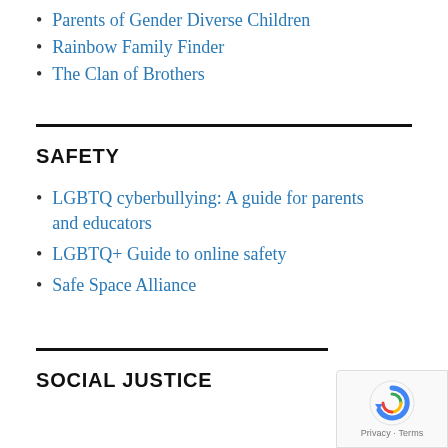Parents of Gender Diverse Children
Rainbow Family Finder
The Clan of Brothers
SAFETY
LGBTQ cyberbullying: A guide for parents and educators
LGBTQ+ Guide to online safety
Safe Space Alliance
SOCIAL JUSTICE